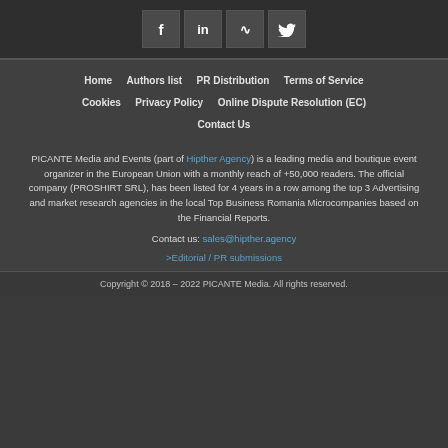[Figure (other): Social media icon buttons: Facebook, LinkedIn, RSS, Twitter]
Home   Authors list   PR Distribution   Terms of Service
Cookies   Privacy Policy   Online Dispute Resolution (EC)
Contact Us
PICANTE Media and Events (part of Hipther Agency) is a leading media and boutique event organizer in the European Union with a monthly reach of +50,000 readers. The official company (PROSHIRT SRL), has been listed for 4 years in a row among the top 3 Advertising and market research agencies in the local Top Business Romania Microcompanies based on the Financial Reports.
Contact us: sales@hipther.agency
>Editorial / PR submissions
Copyright © 2018 – 2022 PICANTE Media. All rights reserved.